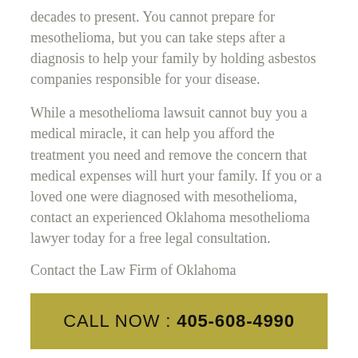decades to present. You cannot prepare for mesothelioma, but you can take steps after a diagnosis to help your family by holding asbestos companies responsible for your disease.
While a mesothelioma lawsuit cannot buy you a medical miracle, it can help you afford the treatment you need and remove the concern that medical expenses will hurt your family. If you or a loved one were diagnosed with mesothelioma, contact an experienced Oklahoma mesothelioma lawyer today for a free legal consultation.
Contact the Law Firm of Oklahoma
CALL NOW : 405-608-4990